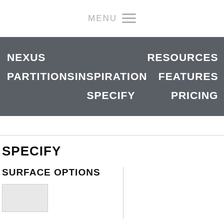MENU ≡
NEXUS   RESOURCES
PARTITIONS   INSPIRATION   FEATURES
                    SPECIFY   PRICING
SPECIFY
SURFACE OPTIONS
[Figure (other): A light gray swatch/color sample box]